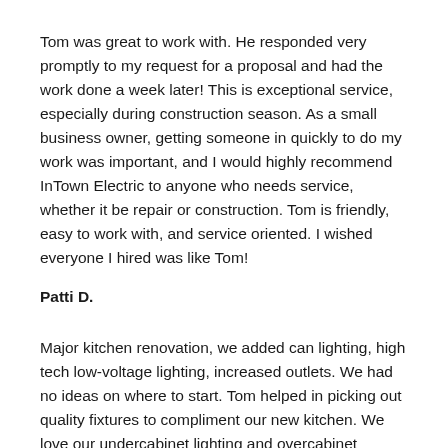Tom was great to work with. He responded very promptly to my request for a proposal and had the work done a week later! This is exceptional service, especially during construction season. As a small business owner, getting someone in quickly to do my work was important, and I would highly recommend InTown Electric to anyone who needs service, whether it be repair or construction. Tom is friendly, easy to work with, and service oriented. I wished everyone I hired was like Tom!
Patti D.
Major kitchen renovation, we added can lighting, high tech low-voltage lighting, increased outlets. We had no ideas on where to start. Tom helped in picking out quality fixtures to compliment our new kitchen. We love our undercabinet lighting and overcabinet lighting. We entertain a lot, everyone that comes over, includes the lighting with their compliments. Tom also has done the electric for our pool, hot tub and all the exterior lighting. Tom has provided us